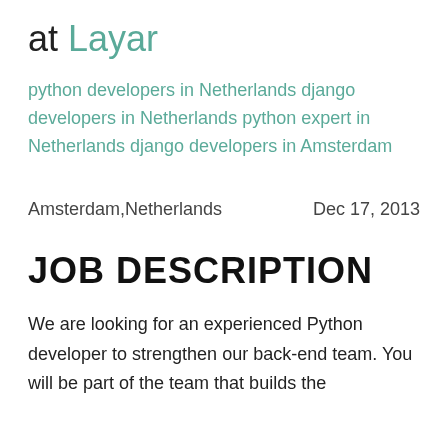at Layar
python developers in Netherlands django developers in Netherlands python expert in Netherlands django developers in Amsterdam
Amsterdam,Netherlands         Dec 17, 2013
JOB DESCRIPTION
We are looking for an experienced Python developer to strengthen our back-end team. You will be part of the team that builds the